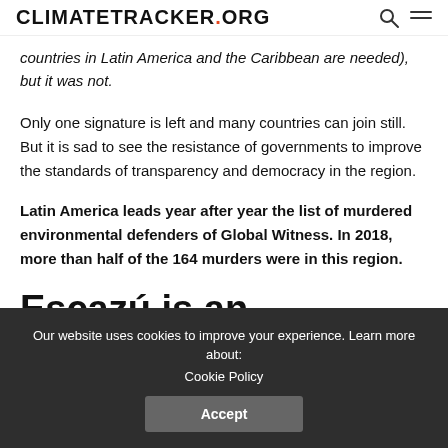CLIMATETRACKER.ORG
countries in Latin America and the Caribbean are needed), but it was not.
Only one signature is left and many countries can join still. But it is sad to see the resistance of governments to improve the standards of transparency and democracy in the region.
Latin America leads year after year the list of murdered environmental defenders of Global Witness. In 2018, more than half of the 164 murders were in this region.
Escazú is an
Our website uses cookies to improve your experience. Learn more about: Cookie Policy
Accept